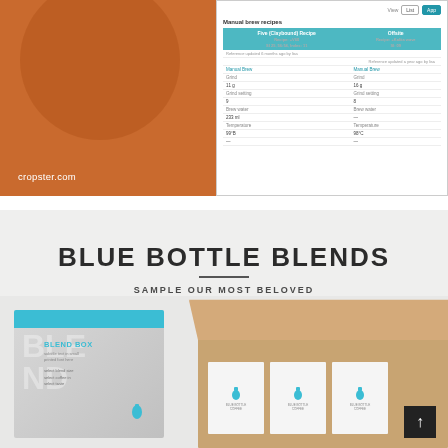[Figure (screenshot): Two-panel image: left side shows Cropster branding on orange background with dark circle shape; right side shows a tablet/app UI with 'Manual brew recipes' table comparing two brew recipes with parameters like Grind, Brew water, Temperature]
[Figure (photo): Blue Bottle Coffee product photo showing blend box packaging and open cardboard shipping box containing coffee packets, on light gray background. Title reads 'BLUE BOTTLE BLENDS' with subtitle 'SAMPLE OUR MOST BELOVED COFFEE BLENDS']